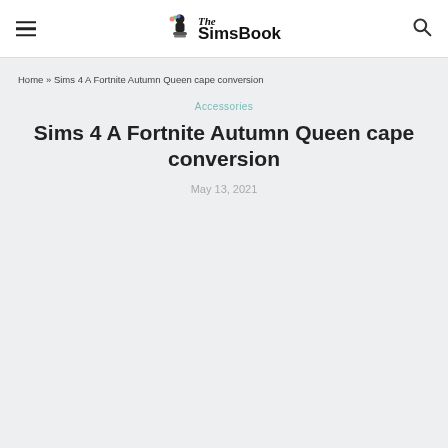The SimsBook — Navigation header with hamburger menu and search icon
Home » Sims 4 A Fortnite Autumn Queen cape conversion
Accessories
Sims 4 A Fortnite Autumn Queen cape conversion
May 13, 2021